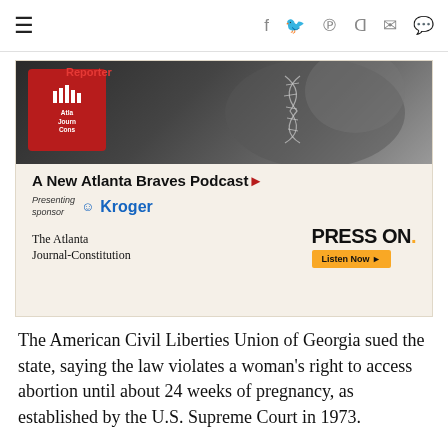≡  f  𝕿  𝗿  𝗿  ✉  💬
[Figure (screenshot): Advertisement for 'A New Atlanta Braves Podcast' called 'Press On' by The Atlanta Journal-Constitution, presenting sponsor Kroger. Features a baseball glove background image and a red podcast card. Includes a 'Listen Now' button.]
The American Civil Liberties Union of Georgia sued the state, saying the law violates a woman's right to access abortion until about 24 weeks of pregnancy, as established by the U.S. Supreme Court in 1973.